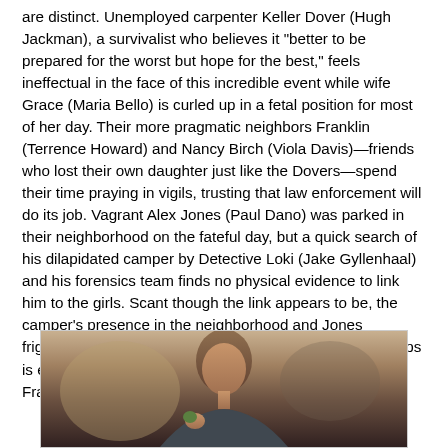are distinct. Unemployed carpenter Keller Dover (Hugh Jackman), a survivalist who believes it "better to be prepared for the worst but hope for the best," feels ineffectual in the face of this incredible event while wife Grace (Maria Bello) is curled up in a fetal position for most of her day. Their more pragmatic neighbors Franklin (Terrence Howard) and Nancy Birch (Viola Davis)—friends who lost their own daughter just like the Dovers—spend their time praying in vigils, trusting that law enforcement will do its job. Vagrant Alex Jones (Paul Dano) was parked in their neighborhood on the fateful day, but a quick search of his dilapidated camper by Detective Loki (Jake Gyllenhaal) and his forensics team finds no physical evidence to link him to the girls. Scant though the link appears to be, the camper's presence in the neighborhood and Jones frightened reaction when confronted by Loki and other cops is enough to convince Dover to kidnap the man and enlist Franklin in torturing him until they get answers.
[Figure (photo): A person photographed indoors, partially visible from shoulders up, with blurred background in brown/tan tones.]